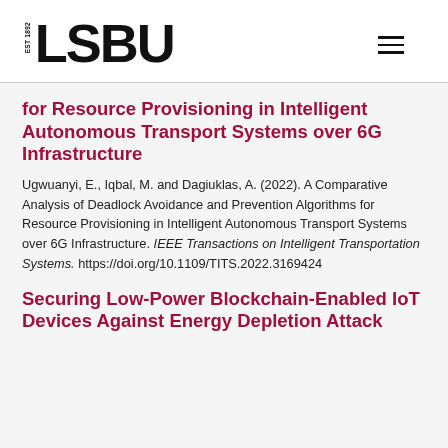LSBU EST 1892
for Resource Provisioning in Intelligent Autonomous Transport Systems over 6G Infrastructure
Ugwuanyi, E., Iqbal, M. and Dagiuklas, A. (2022). A Comparative Analysis of Deadlock Avoidance and Prevention Algorithms for Resource Provisioning in Intelligent Autonomous Transport Systems over 6G Infrastructure. IEEE Transactions on Intelligent Transportation Systems. https://doi.org/10.1109/TITS.2022.3169424
Securing Low-Power Blockchain-Enabled IoT Devices Against Energy Depletion Attack